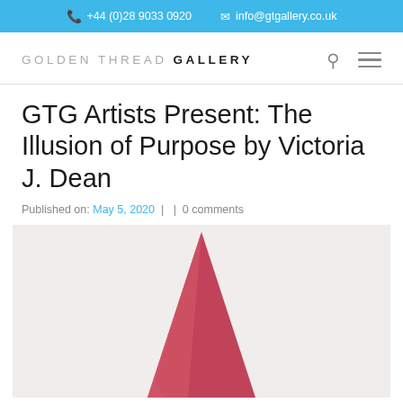+44 (0)28 9033 0920   info@gtgallery.co.uk
[Figure (logo): Golden Thread Gallery logo with light and bold text]
GTG Artists Present: The Illusion of Purpose by Victoria J. Dean
Published on: May 5, 2020 |  | 0 comments
[Figure (photo): Photograph of a pink/red cone-shaped sculpture against a light grey background, viewed from above showing the pointed tip]